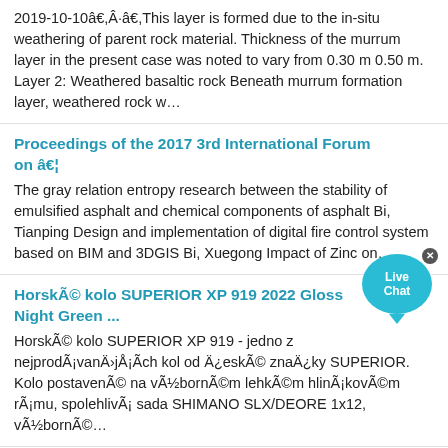2019-10-10â€,Â·â€,This layer is formed due to the in-situ weathering of parent rock material. Thickness of the murrum layer in the present case was noted to vary from 0.30 m 0.50 m. Layer 2: Weathered basaltic rock Beneath murrum formation layer, weathered rock w…
Proceedings of the 2017 3rd International Forum on â€¦
The gray relation entropy research between the stability of emulsified asphalt and chemical components of asphalt Bi, Tianping Design and implementation of digital fire control system based on BIM and 3DGIS Bi, Xuegong Impact of Zinc on…
Horské kolo SUPERIOR XP 919 2022 Gloss Night Green ...
Horské kolo SUPERIOR XP 919 - jedno z nejprodávanějších kol od české značky SUPERIOR. Kolo postavené na výborném lehkém hliníkovém rámu, spolehlivá sada SHIMANO SLX/DEORE 1x12, výborné…
Experimentally validated 3D simulation and performance ...
2021-8-1â€,Ã·â€,Thermo-hydraulic performance